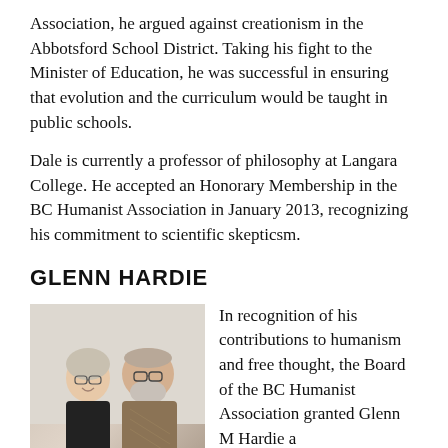Association, he argued against creationism in the Abbotsford School District. Taking his fight to the Minister of Education, he was successful in ensuring that evolution and the curriculum would be taught in public schools.
Dale is currently a professor of philosophy at Langara College. He accepted an Honorary Membership in the BC Humanist Association in January 2013, recognizing his commitment to scientific skepticsm.
GLENN HARDIE
[Figure (photo): Photo of Lorraine and Glenn, captioned 'Lorraine & Glenn "Canada Day" July 1, 2013']
In recognition of his contributions to humanism and free thought, the Board of the BC Humanist Association granted Glenn M Hardie a Lifetime Membership Certificate on February 12, 1999.